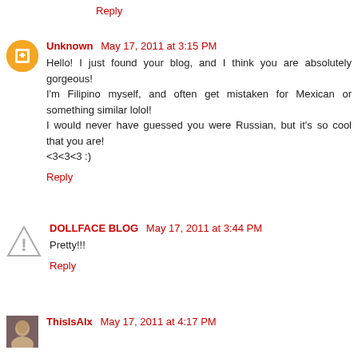Reply
Unknown  May 17, 2011 at 3:15 PM
Hello! I just found your blog, and I think you are absolutely gorgeous!
I'm Filipino myself, and often get mistaken for Mexican or something similar lolol!
I would never have guessed you were Russian, but it's so cool that you are!
<3<3<3 :)
Reply
DOLLFACE BLOG  May 17, 2011 at 3:44 PM
Pretty!!!
Reply
ThisIsAlx  May 17, 2011 at 4:17 PM